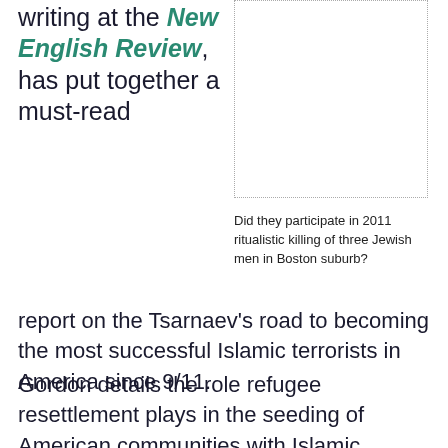writing at the New English Review, has put together a must-read report on the Tsarnaev's road to becoming the most successful Islamic terrorists in America since 9/11.
[Figure (photo): Image placeholder with dotted border, appears to be a photo related to the article content]
Did they participate in 2011 ritualistic killing of three Jewish men in Boston suburb?
Gordon details the role refugee resettlement plays in the seeding of American communities with Islamic supremacists, and he reports on something many of you may not have seen—the possible involvement of one or both Tsarnaev